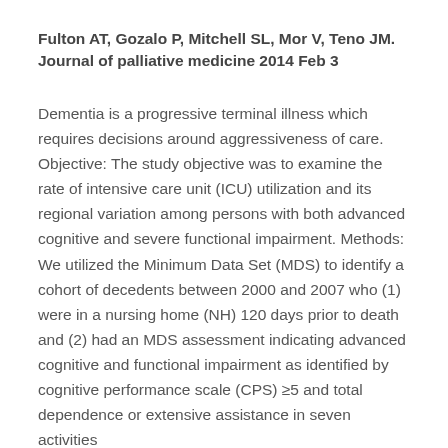Fulton AT, Gozalo P, Mitchell SL, Mor V, Teno JM. Journal of palliative medicine 2014 Feb 3
Dementia is a progressive terminal illness which requires decisions around aggressiveness of care. Objective: The study objective was to examine the rate of intensive care unit (ICU) utilization and its regional variation among persons with both advanced cognitive and severe functional impairment. Methods: We utilized the Minimum Data Set (MDS) to identify a cohort of decedents between 2000 and 2007 who (1) were in a nursing home (NH) 120 days prior to death and (2) had an MDS assessment indicating advanced cognitive and functional impairment as identified by cognitive performance scale (CPS) ≥5 and total dependence or extensive assistance in seven activities